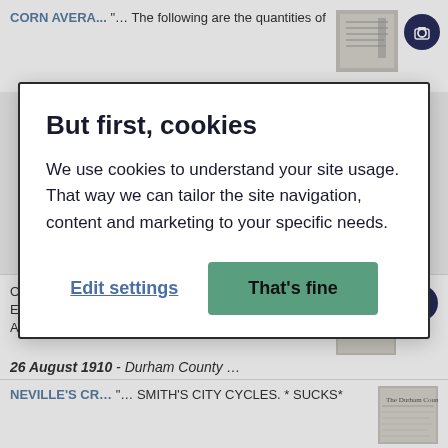CORN AVERA... "... The following are the quantities of
But first, cookies
We use cookies to understand your site usage. That way we can tailor the site navigation, content and marketing to your specific needs.
Edit settings   That's fine
OTHE.KH HELP AM. N«>w*y Ooreco—«. RU; EzprrtoaMdNu Omorala. CoaLSM-NovucAonuAJi Aomcv. A BaiAMr SUocC Dwtea. ..."
26 August 1910 - Durham County ...
NEVILLE'S CR... "... SMITH'S CITY CYCLES. * SUCKS*